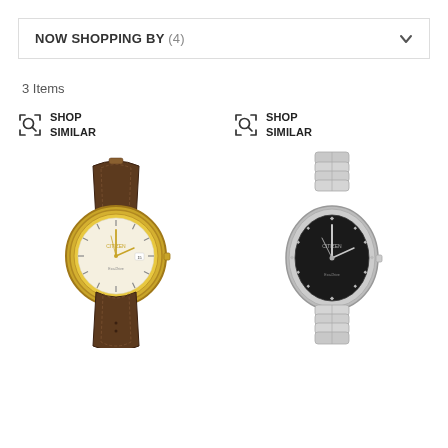NOW SHOPPING BY (4)
3 Items
[Figure (photo): Shop Similar icon button with magnifying glass in bracket frame icon, labeled SHOP SIMILAR (left product)]
[Figure (photo): Shop Similar icon button with magnifying glass in bracket frame icon, labeled SHOP SIMILAR (right product)]
[Figure (photo): Citizen women's watch with gold case, champagne dial, brown leather strap, Eco-Drive]
[Figure (photo): Citizen women's watch with silver/titanium case, black diamond dial, silver metal bracelet, Eco-Drive]